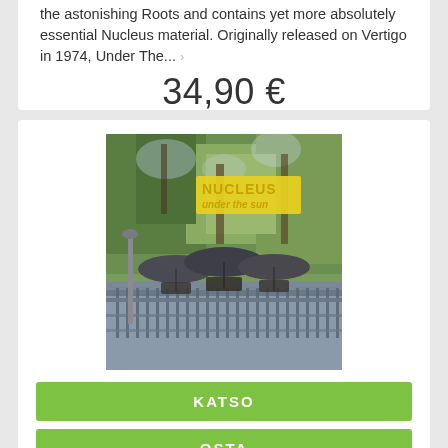the astonishing Roots and contains yet more absolutely essential Nucleus material. Originally released on Vertigo in 1974, Under The... ›
34,90 €
[Figure (photo): Album cover of Nucleus - Under the Sun. Shows people with umbrellas standing on a bridge surrounded by trees. Yellow text reads NUCLEUS under the sun.]
KATSO
OSTA